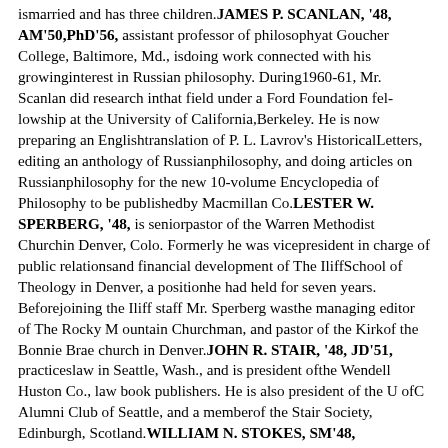ismarried and has three children.JAMES P. SCANLAN, '48, AM'50,PhD'56, assistant professor of philosophyat Goucher College, Baltimore, Md., isdoing work connected with his growinginterest in Russian philosophy. During1960-61, Mr. Scanlan did research inthat field under a Ford Foundation fellowship at the University of California,Berkeley. He is now preparing an Englishtranslation of P. L. Lavrov's HistoricalLetters, editing an anthology of Russianphilosophy, and doing articles on Russianphilosophy for the new 10-volume Encyclopedia of Philosophy to be publishedby Macmillan Co.LESTER W. SPERBERG, '48, is seniorpastor of the Warren Methodist Churchin Denver, Colo. Formerly he was vicepresident in charge of public relationsand financial development of The IliffSchool of Theology in Denver, a positionhe had held for seven years. Beforejoining the Iliff staff Mr. Sperberg wasthe managing editor of The Rocky Mountain Churchman, and pastor of the Kirkof the Bonnie Brae church in Denver.JOHN R. STAIR, '48, JD'51, practiceslaw in Seattle, Wash., and is president ofthe Wendell Huston Co., law book publishers. He is also president of the U ofC Alumni Club of Seattle, and a memberof the Stair Society, Edinburgh, Scotland.WILLIAM N. STOKES, SM'48, wastransferred last fall from the AmericanConsulate in Tokyo where he was viceconsul, to Washington, D.C. where he istemporarily assigned to the Bureau ofAfrican Affairs.SidewalksFactory FloorsMachineFoundationsConcrete